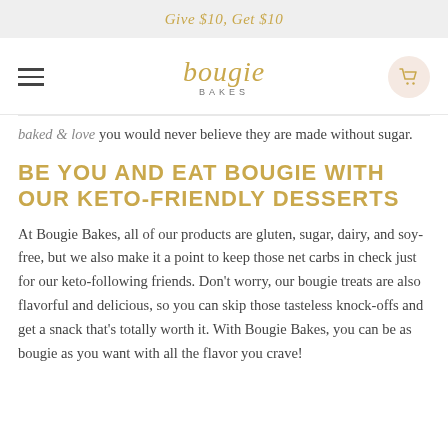Give $10, Get $10
[Figure (logo): Bougie Bakes logo with hamburger menu and cart icon navigation bar]
baked & love you would never believe they are made without sugar.
BE YOU AND EAT BOUGIE WITH OUR KETO-FRIENDLY DESSERTS
At Bougie Bakes, all of our products are gluten, sugar, dairy, and soy-free, but we also make it a point to keep those net carbs in check just for our keto-following friends. Don't worry, our bougie treats are also flavorful and delicious, so you can skip those tasteless knock-offs and get a snack that's totally worth it. With Bougie Bakes, you can be as bougie as you want with all the flavor you crave!